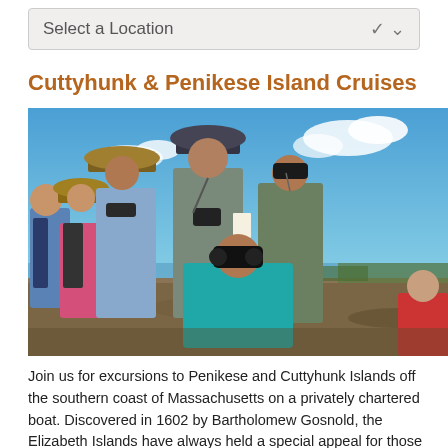Select a Location
Cuttyhunk & Penikese Island Cruises
[Figure (photo): Group of people standing on rocky terrain looking through binoculars under a blue sky with clouds, ocean visible in background. A person in a teal shirt is crouching in the foreground using binoculars, surrounded by others including people wearing hats and carrying camera equipment.]
Join us for excursions to Penikese and Cuttyhunk Islands off the southern coast of Massachusetts on a privately chartered boat. Discovered in 1602 by Bartholomew Gosnold, the Elizabeth Islands have always held a special appeal for those